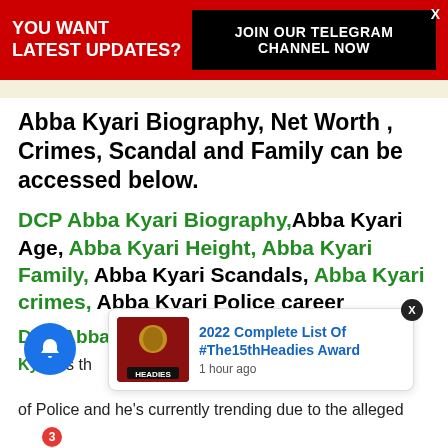YOU WANT LATEST UPDATES? JOIN OUR TELEGRAM CHANNEL NOW
Abba Kyari Biography, Net Worth , Crimes, Scandal and Family can be accessed below.
DCP Abba Kyari Biography,Abba Kyari Age, Abba Kyari Height, Abba Kyari Family, Abba Kyari Scandals, Abba Kyari crimes, Abba Kyari Police career
DCP Abba Kyari is the...
of Police and he's currently trending due to the alleged
[Figure (screenshot): Popup notification card showing Headies award image and text: '2022 Complete List Of #The15thHeadies Award, 1 hour ago']